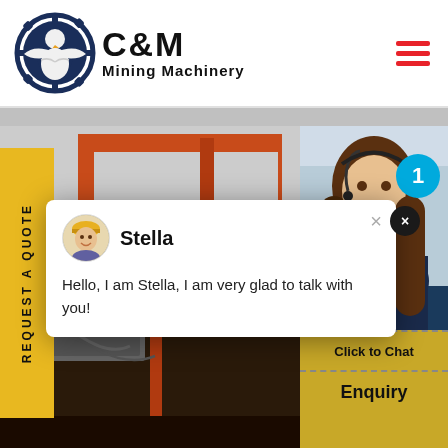[Figure (logo): C&M Mining Machinery logo with eagle/gear icon on the left and bold text 'C&M Mining Machinery' on the right]
[Figure (photo): Industrial mining machinery with red structural frames and mechanical components]
REQUEST A QUOTE
[Figure (photo): Customer service representative (woman with headset) with notification bubble showing '1']
Stella
Hello, I am Stella, I am very glad to talk with you!
Click to Chat
Enquiry